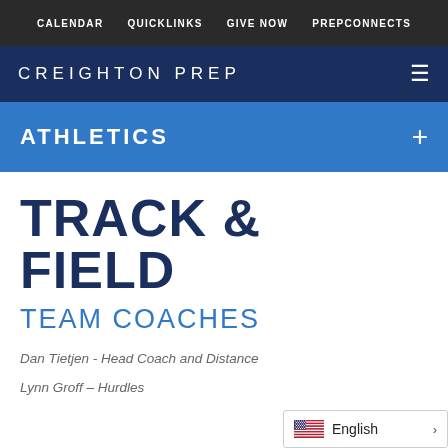CALENDAR  QUICKLINKS  GIVE NOW  PREPCONNECTS
CREIGHTON PREP
ATHLETICS
TRACK & FIELD
TEAM COACHES
Dan Tietjen - Head Coach and Distance
Lynn Groff – Hurdles